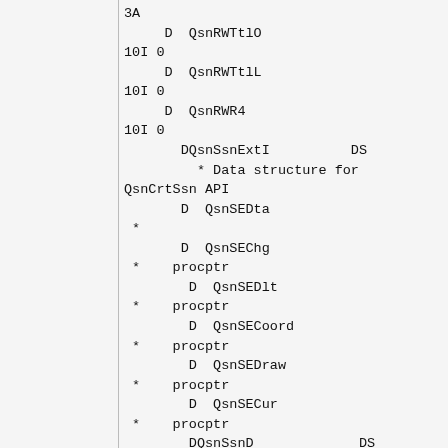3A
     D  QsnRWTtlO
10I 0
     D  QsnRWTtlL
10I 0
     D  QsnRWR4
10I 0
       DQsnSsnExtI          DS
         * Data structure for QsnCrtSsn API
       D  QsnSEDta
 *
       D  QsnSEChg
 *    procptr
        D  QsnSEDlt
 *    procptr
        D  QsnSECoord
 *    procptr
        D  QsnSEDraw
 *    procptr
        D  QsnSECur
 *    procptr
        DQsnSsnD             DS
         * Data structure for QsnCrtSsn and QsnChgSsn APIs
       D  QsnSActn
 *    procptr Dim(24)
        D  QsnSTRow
10I 0
        D  QsnSLCol
10I 0
        D  QsnSNRows